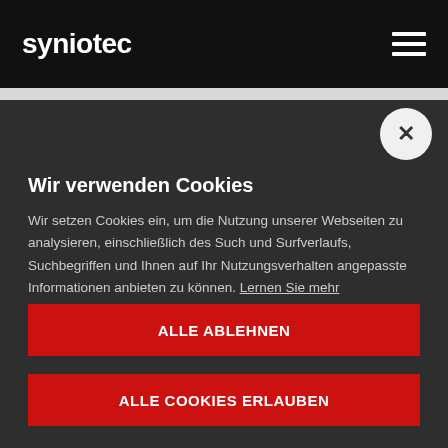syniotec
Wir verwenden Cookies
Wir setzen Cookies ein, um die Nutzung unserer Webseiten zu analysieren, einschließlich des Such und Surfverlaufs, Suchbegriffen und Ihnen auf Ihr Nutzungsverhalten angepasste Informationen anbieten zu können. Lernen Sie mehr
Einstellungen
ALLE ABLEHNEN
ALLE COOKIES ERLAUBEN